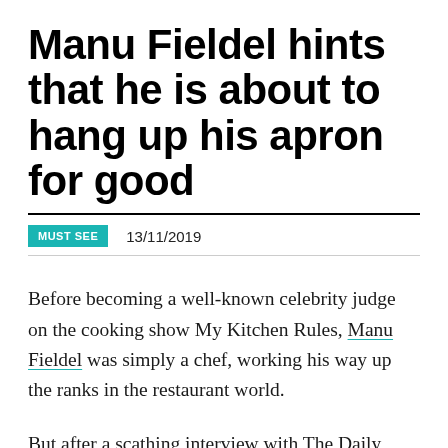Manu Fieldel hints that he is about to hang up his apron for good
MUST SEE  13/11/2019
Before becoming a well-known celebrity judge on the cooking show My Kitchen Rules, Manu Fieldel was simply a chef, working his way up the ranks in the restaurant world.
But after a scathing interview with The Daily Telegraph, it seems like Manu is about to...